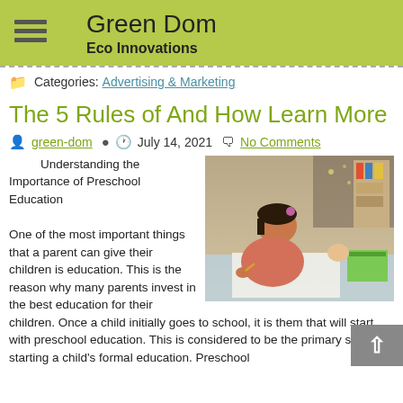Green Dom
Eco Innovations
Categories: Advertising & Marketing
The 5 Rules of And How Learn More
green-dom   July 14, 2021   No Comments
Understanding the Importance of Preschool Education

One of the most important things that a parent can give their children is education. This is the reason why many parents invest in the best education for their children. Once a child initially goes to school, it is them that will start with preschool education. This is considered to be the primary step in starting a child's formal education. Preschool
[Figure (photo): A young girl writing or drawing at a desk with toys and books in the background]